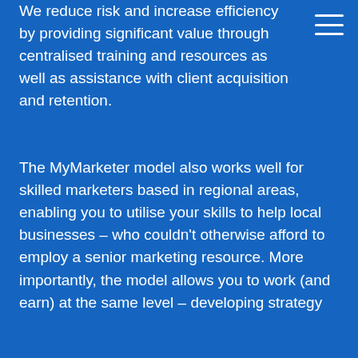We reduce risk and increase efficiency by providing significant value through centralised training and resources as well as assistance with client acquisition and retention.
The MyMarketer model also works well for skilled marketers based in regional areas, enabling you to utilise your skills to help local businesses – who couldn't otherwise afford to employ a senior marketing resource. More importantly, the model allows you to work (and earn) at the same level – developing strategy